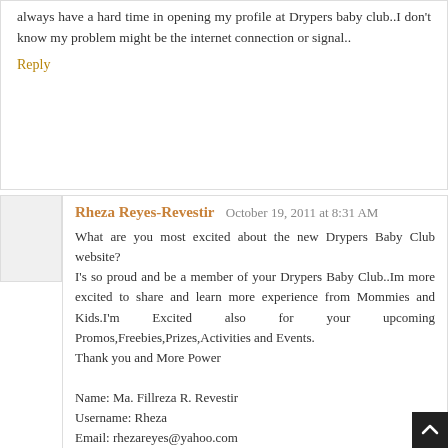always have a hard time in opening my profile at Drypers baby club..I don't know my problem might be the internet connection or signal..
Reply
Rheza Reyes-Revestir  October 19, 2011 at 8:31 AM
What are you most excited about the new Drypers Baby Club website?
I's so proud and be a member of your Drypers Baby Club..Im more excited to share and learn more experience from Mommies and Kids.I'm Excited also for your upcoming Promos,Freebies,Prizes,Activities and Events.
Thank you and More Power

Name: Ma. Fillreza R. Revestir
Username: Rheza
Email: rhezareyes@yahoo.com
Fb:                 Rheza                              Reyes-Revestir-https://www.facebook.com/The24HourMommy?sk=wall#!/profile.php?id=1369863641
Twitter: https://twitter.com/#!/itsRheza
https://twitter.com/#!/itsRheza/status/126440288330858496
Diaper size: XL